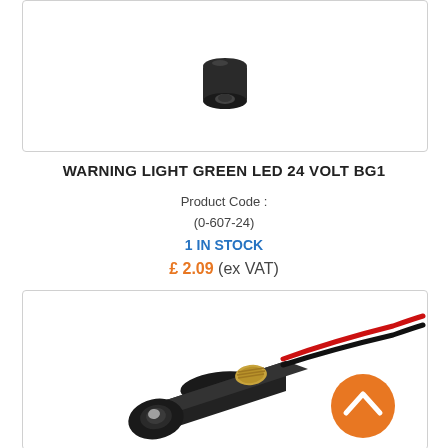[Figure (photo): Top portion of a black warning light device (partially cropped at top) shown against white background]
WARNING LIGHT GREEN LED 24 VOLT BG1
Product Code :
(0-607-24)
1 IN STOCK
£ 2.09 (ex VAT)
[Figure (photo): Black cylindrical warning light device with green LED, gold threaded mount, and red/black wiring, shown on white background. An orange circular scroll-to-top button appears in the bottom right corner.]